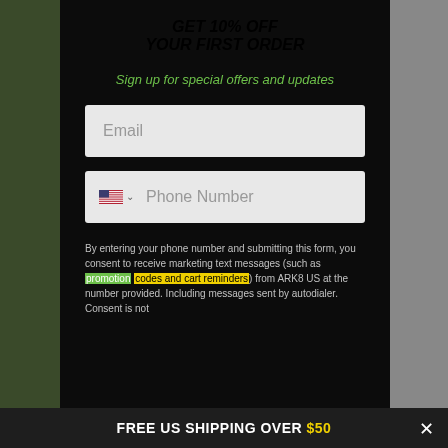GET 10% OFF YOUR FIRST ORDER
Sign up for special offers and updates
Email
Phone Number
By entering your phone number and submitting this form, you consent to receive marketing text messages (such as promotion codes and cart reminders) from ARK8 US at the number provided. Including messages sent by autodialer. Consent is not
FREE US SHIPPING OVER $50